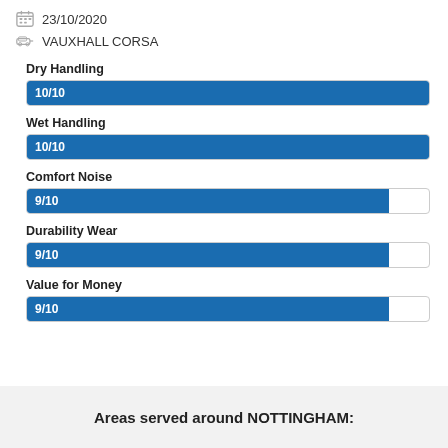23/10/2020
VAUXHALL CORSA
[Figure (bar-chart): Ratings]
Areas served around NOTTINGHAM: